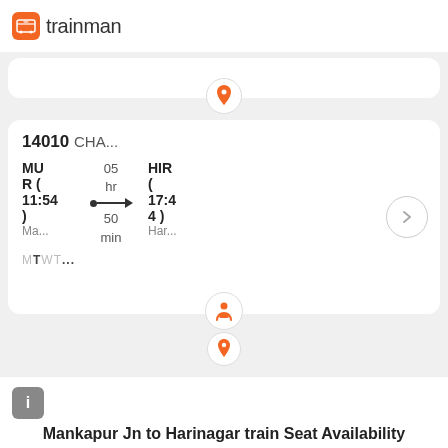tm trainman
[Figure (logo): Orange location pin icon inside a white circle]
14010 CHA...
MUR ( 11:54 )  05 hr 50 min  HIR ( 17:44 )  Ma... —> Har...
MTWT...
[Figure (illustration): Orange seat/passenger icon in white circle]
[Figure (illustration): Orange location pin icon in white circle]
Mankapur Jn to Harinagar train Seat Availability
Train seat availability for all 4 trains that run from Mankapur Jn to Harinagar can be found in above table.